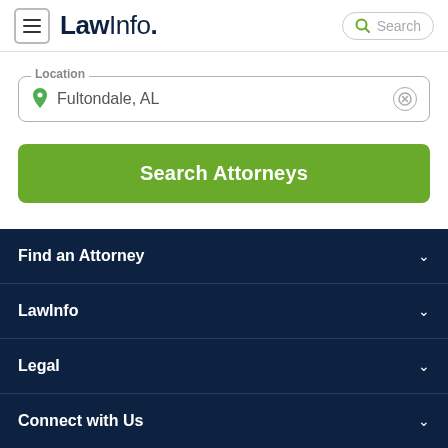LawInfo. Search
Location: Fultondale, AL
Search Attorneys
Find an Attorney
LawInfo
Legal
Connect with Us